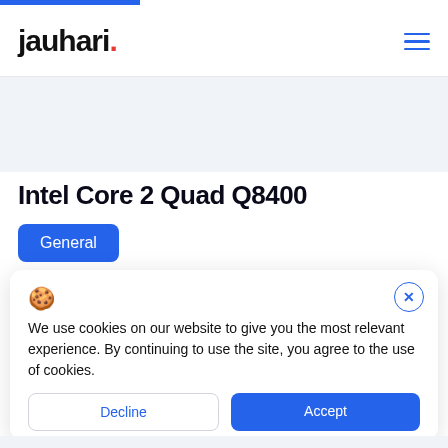jauhari.
Intel Core 2 Quad Q8400
General
We use cookies on our website to give you the most relevant experience. By continuing to use the site, you agree to the use of cookies.